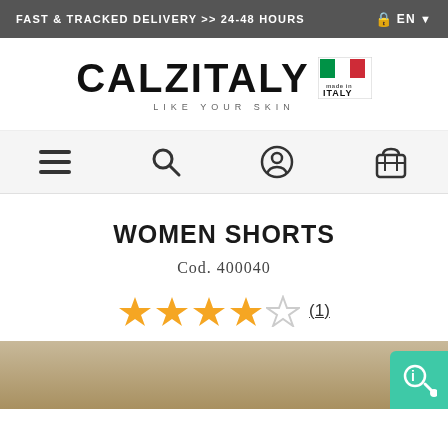FAST & TRACKED DELIVERY >> 24-48 HOURS
[Figure (logo): CALZITALY logo with tagline LIKE YOUR SKIN and Made in Italy badge with Italian flag colors]
[Figure (infographic): Navigation bar with hamburger menu, search, account, and cart icons]
WOMEN SHORTS
Cod. 400040
[Figure (infographic): 4 filled gold stars and 1 empty star rating with (1) review count underlined]
[Figure (photo): Partial product image at bottom of page]